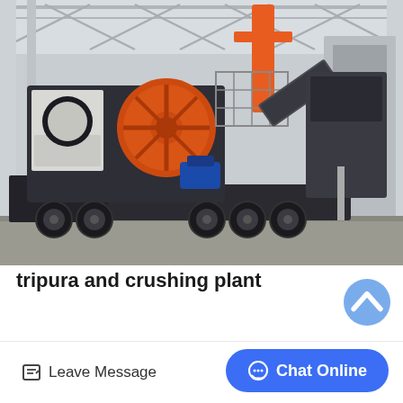[Figure (photo): A large mobile jaw crushing plant mounted on a multi-axle truck trailer, photographed inside an industrial factory building with steel roof trusses. The machine features a prominent orange flywheel, black and grey steel frame, conveyor belt, and a blue electric motor. The setting is a large factory floor with concrete ground.]
tripura and crushing plant
Leave Message
Chat Online